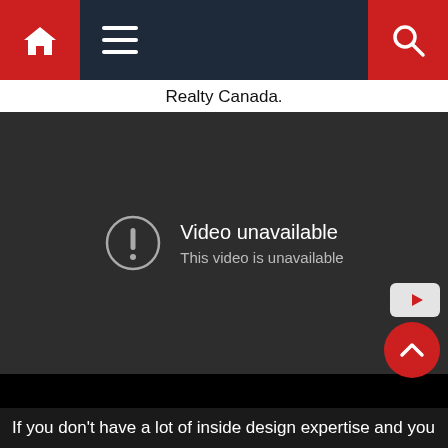Navigation bar with home icon, menu icon, and search icon
Realty Canada.
[Figure (screenshot): Video unavailable placeholder with exclamation circle icon. Text reads: 'Video unavailable / This video is unavailable']
If you don't have a lot of inside design expertise and you